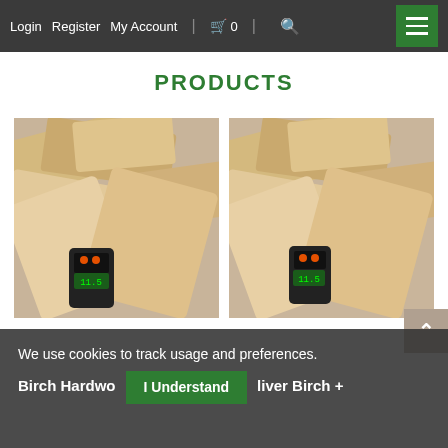Login  Register  My Account  | 🛒 0  |  🔍  ☰
PRODUCTS
[Figure (photo): Stacked birch firewood logs with a moisture meter device showing a reading, left product photo]
[Figure (photo): Stacked birch firewood logs with a moisture meter device showing a reading, right product photo]
We use cookies to track usage and preferences.
Birch Hardwo... liver Birch +
I Understand